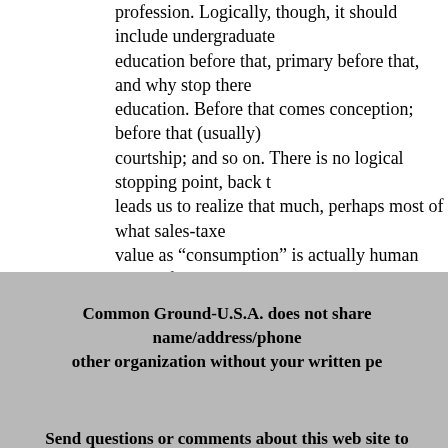profession. Logically, though, it should include undergraduate education before that, primary before that, and why stop there education. Before that comes conception; before that (usually) courtship; and so on. There is no logical stopping point, back t leads us to realize that much, perhaps most of what sales-taxe value as “consumption” is actually human capital formation.
Bottom line? To tax consumption properly we should tax all la above some reasonable minimum needed for health and childr recreation; and all land held without using it at all. And we sh what economists today carelessly call “consumption.”
Common Ground-U.S.A. does not share name/address/phone other organization without your written pe
Send questions or comments about this web site to Copyright © 1997-2015 Common Ground